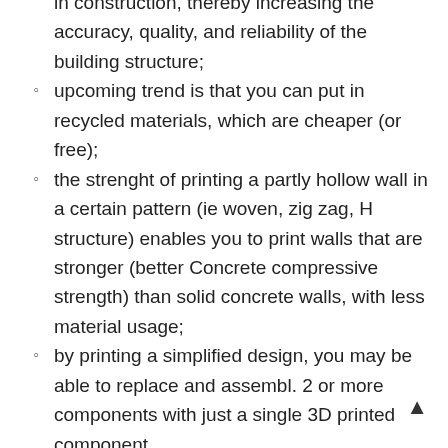in construction, thereby increasing the accuracy, quality, and reliability of the building structure;
upcoming trend is that you can put in recycled materials, which are cheaper (or free);
the strenght of printing a partly hollow wall in a certain pattern (ie woven, zig zag, H structure) enables you to print walls that are stronger (better Concrete compressive strength) than solid concrete walls, with less material usage;
by printing a simplified design, you may be able to replace and assembl. 2 or more components with just a single 3D printed component.